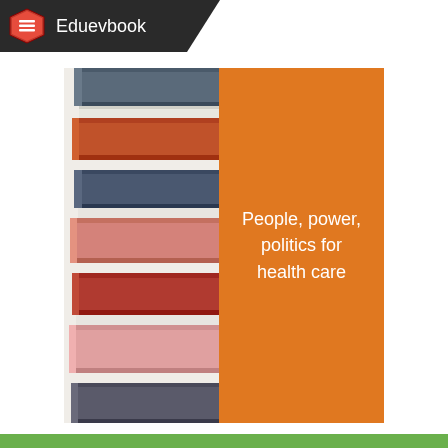Eduevbook
[Figure (illustration): Book cover showing a stack of colorful books on the left half, and an orange panel on the right half with the title text 'People, power, politics for health care' in white. The Eduevbook logo/header appears at the top left with a dark banner. A green bar appears at the bottom.]
People, power, politics for health care